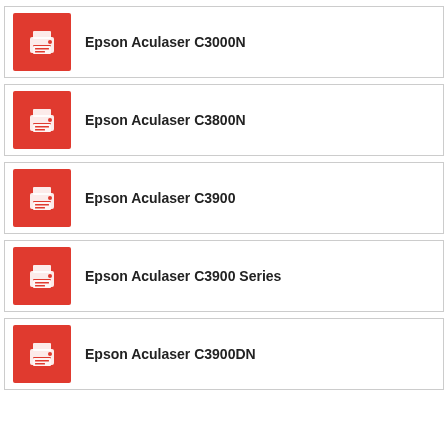Epson Aculaser C3000N
Epson Aculaser C3800N
Epson Aculaser C3900
Epson Aculaser C3900 Series
Epson Aculaser C3900DN